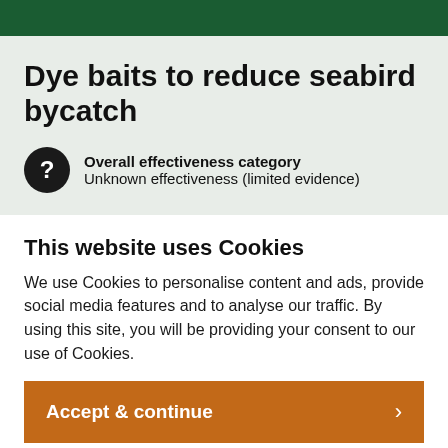Dye baits to reduce seabird bycatch
Overall effectiveness category
Unknown effectiveness (limited evidence)
This website uses Cookies
We use Cookies to personalise content and ads, provide social media features and to analyse our traffic. By using this site, you will be providing your consent to our use of Cookies.
Accept & continue